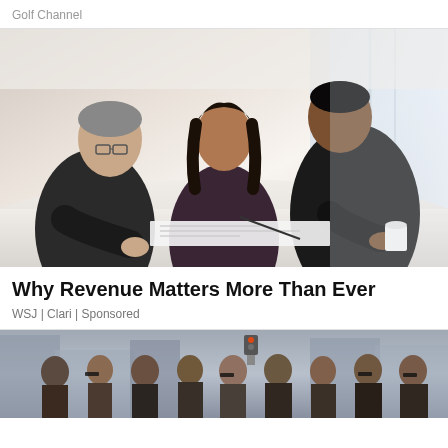Golf Channel
[Figure (photo): Three business professionals in suits leaning over a white table examining documents in a bright modern office with large windows]
Why Revenue Matters More Than Ever
WSJ | Clari | Sponsored
[Figure (photo): Group of people standing outdoors on a city street]